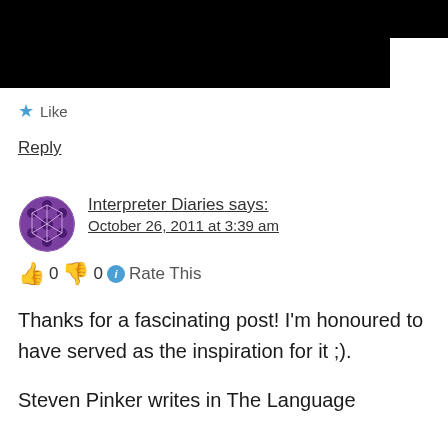[Figure (other): Black redacted header bar]
★ Like
Reply
Interpreter Diaries says: October 26, 2011 at 3:39 am
👍 0 👎 0 ℹ Rate This
Thanks for a fascinating post! I'm honoured to have served as the inspiration for it ;).
Steven Pinker writes in The Language